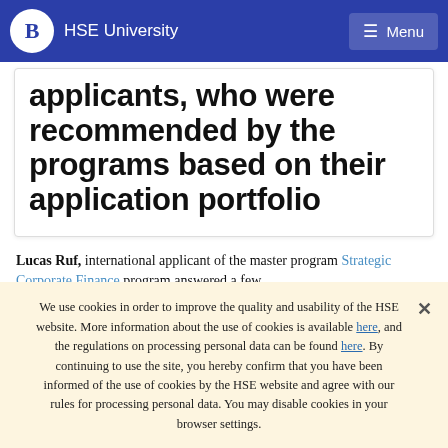HSE University  Menu
applicants, who were recommended by the programs based on their application portfolio
Lucas Ruf, international applicant of the master program Strategic Corporate Finance program answered a few
We use cookies in order to improve the quality and usability of the HSE website. More information about the use of cookies is available here, and the regulations on processing personal data can be found here. By continuing to use the site, you hereby confirm that you have been informed of the use of cookies by the HSE website and agree with our rules for processing personal data. You may disable cookies in your browser settings.